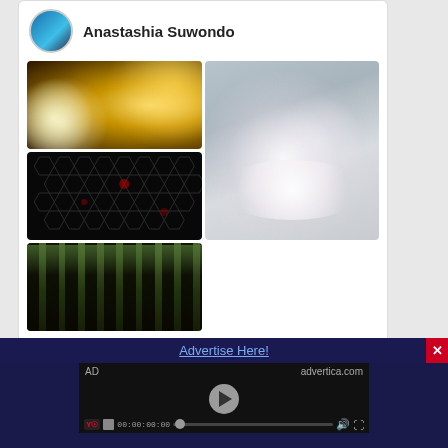[Figure (screenshot): Pinterest widget showing user Anastashia Suwondo with avatar and 5 image thumbnails (gold abstract, anime fire character, dark honeycomb, cherry blossoms, forest), plus a Follow On Pinterest button]
[Figure (screenshot): Advertisement bar at bottom with 'Advertise Here!' link, video player with AD label, advertica.com URL, play button, time display 00:00:00:00, progress bar, volume and fullscreen controls, close X button]